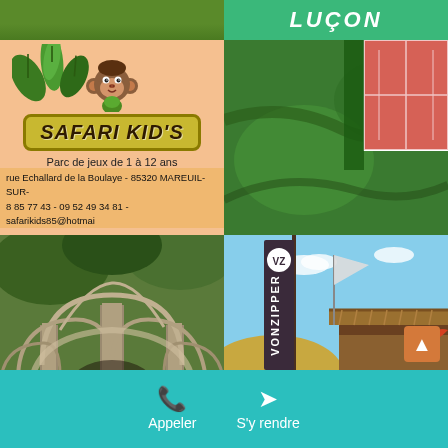[Figure (photo): Green grass aerial view strip]
[Figure (photo): Green header with LUÇON text in white italic bold letters on teal/green background]
[Figure (photo): Safari Kid's children play park advertisement sign with monkey cartoon, leaves, banner reading SAFARI KID'S, subtitle Parc de jeux de 1 à 12 ans, address rue Echallard de la Boulaye - 85320 MAREUIL-SUR-, phone 8 85 77 43 - 09 52 49 34 81 - safarikids85@hotmai]
[Figure (photo): Aerial view of a green field with a tennis or sports court (pink/red surface) visible in upper right corner]
[Figure (photo): Stone gothic abbey ruins with arched columns and vaulted ceilings, outdoor setting with trees]
[Figure (photo): Beach scene with Vonzipper branded vertical flag/banner, thatched umbrella hut, sunny sky, sandy area]
Appeler
S'y rendre